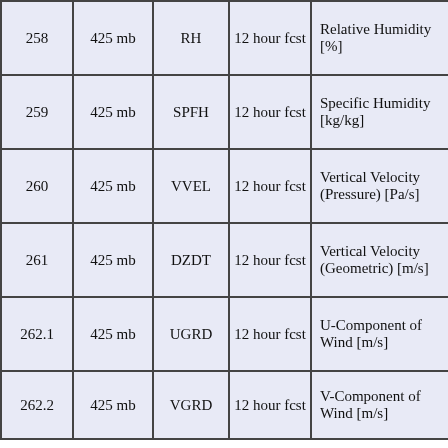| ID | Level | Abbrev | Type | Description |
| --- | --- | --- | --- | --- |
| 258 | 425 mb | RH | 12 hour fcst | Relative Humidity [%] |
| 259 | 425 mb | SPFH | 12 hour fcst | Specific Humidity [kg/kg] |
| 260 | 425 mb | VVEL | 12 hour fcst | Vertical Velocity (Pressure) [Pa/s] |
| 261 | 425 mb | DZDT | 12 hour fcst | Vertical Velocity (Geometric) [m/s] |
| 262.1 | 425 mb | UGRD | 12 hour fcst | U-Component of Wind [m/s] |
| 262.2 | 425 mb | VGRD | 12 hour fcst | V-Component of Wind [m/s] |